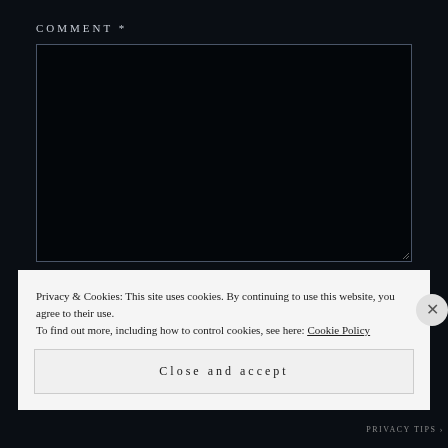COMMENT *
[Figure (screenshot): Dark comment text input box with resize handle in bottom-right corner]
Privacy & Cookies: This site uses cookies. By continuing to use this website, you agree to their use.
To find out more, including how to control cookies, see here: Cookie Policy
Close and accept